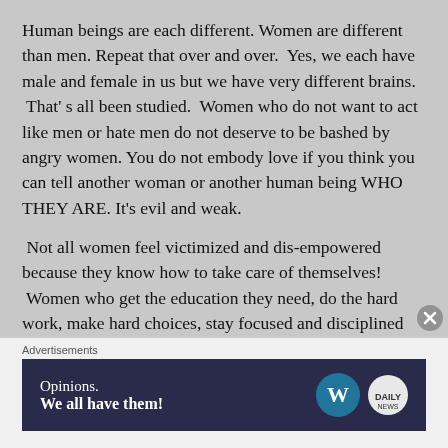Human beings are each different. Women are different than men. Repeat that over and over.  Yes, we each have male and female in us but we have very different brains.  That' s all been studied.  Women who do not want to act like men or hate men do not deserve to be bashed by angry women. You do not embody love if you think you can tell another woman or another human being WHO THEY ARE. It's evil and weak.
Not all women feel victimized and dis-empowered because they know how to take care of themselves!  Women who get the education they need, do the hard work, make hard choices, stay focused and disciplined can excel beyond most men in every way. It's up to the
Advertisements
[Figure (other): Advertisement banner with dark blue background showing 'Opinions. We all have them!' text and WordPress and Daily News logos]